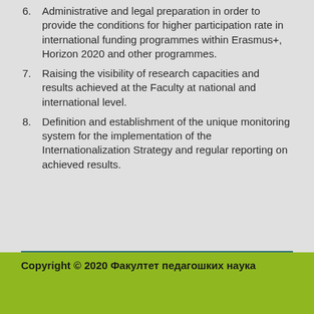6. Administrative and legal preparation in order to provide the conditions for higher participation rate in international funding programmes within Erasmus+, Horizon 2020 and other programmes.
7. Raising the visibility of research capacities and results achieved at the Faculty at national and international level.
8. Definition and establishment of the unique monitoring system for the implementation of the Internationalization Strategy and regular reporting on achieved results.
Copyright © 2020 Факултет педагошких наука